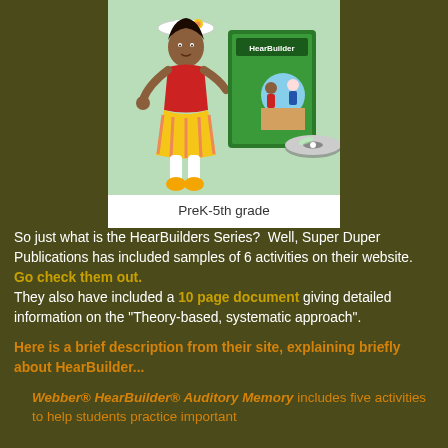[Figure (illustration): HearBuilder product image showing a cartoon girl in a red and yellow outfit with a white hat, alongside a green HearBuilder book/CD product and other cartoon characters on a light green background]
PreK-5th grade
So just what is the HearBuilders Series?  Well, Super Duper Publications has included samples of 6 activities on their website.  Go check them out.
They also have included a 10 page document giving detailed information on the "Theory-based, systematic approach".
Here is a brief description from their site, explaining briefly about HearBuilder...
Webber® HearBuilder® Auditory Memory includes five activities to help students practice important